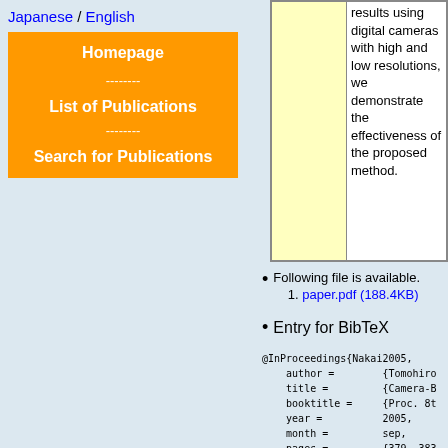Japanese / English
Homepage
--------
List of Publications
--------
Search for Publications
|  | Description |
| --- | --- |
|  | results using digital cameras with high and low resolutions, we demonstrate the effectiveness of the proposed method. |
Following file is available.
1. paper.pdf (188.4KB)
Entry for BibTeX
@InProceedings{Nakai2005,
    author =        {Tomohiro
    title =         {Camera-B
    booktitle =     {Proc. 8t
    year =          2005,
    month =         sep,
    pages =         {379--383
}